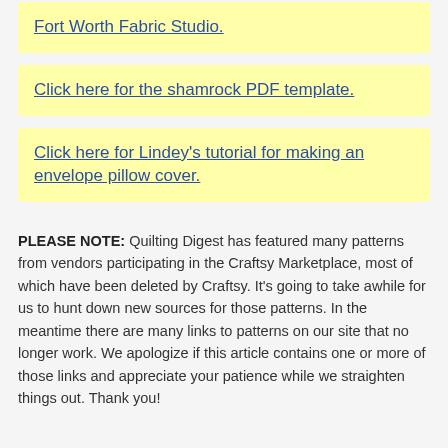Fort Worth Fabric Studio.
Click here for the shamrock PDF template.
Click here for Lindey's tutorial for making an envelope pillow cover.
PLEASE NOTE: Quilting Digest has featured many patterns from vendors participating in the Craftsy Marketplace, most of which have been deleted by Craftsy. It's going to take awhile for us to hunt down new sources for those patterns. In the meantime there are many links to patterns on our site that no longer work. We apologize if this article contains one or more of those links and appreciate your patience while we straighten things out. Thank you!